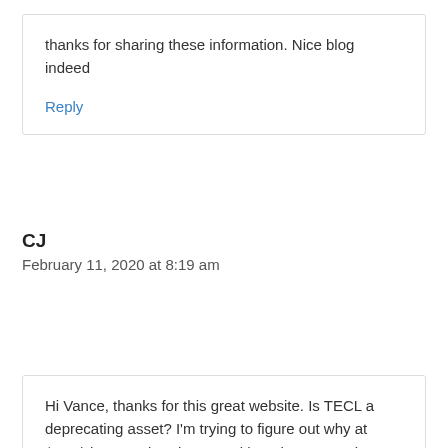thanks for sharing these information. Nice blog indeed
Reply
CJ
February 11, 2020 at 8:19 am
Hi Vance, thanks for this great website. Is TECL a deprecating asset? I'm trying to figure out why at $320/share I'm break even. Although my entry is at $310/share.